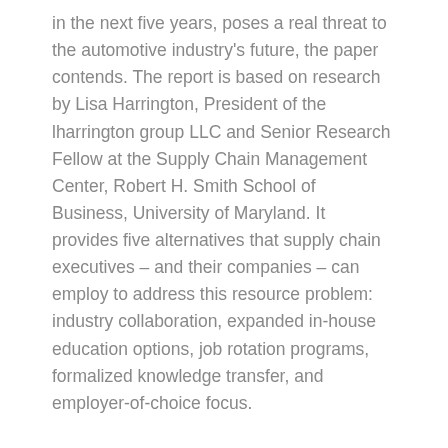in the next five years, poses a real threat to the automotive industry's future, the paper contends. The report is based on research by Lisa Harrington, President of the lharrington group LLC and Senior Research Fellow at the Supply Chain Management Center, Robert H. Smith School of Business, University of Maryland. It provides five alternatives that supply chain executives – and their companies – can employ to address this resource problem: industry collaboration, expanded in-house education options, job rotation programs, formalized knowledge transfer, and employer-of-choice focus.
“For the automotive industry, the supply chain talent crisis is a house of cards ready to collapse,” cautions Frank Vorrath, Vice-President, Global Sector Head Automotive, DHL Global Forwarding. “Solving it requires planning for the long term and building a talent investment strategy into the corporate